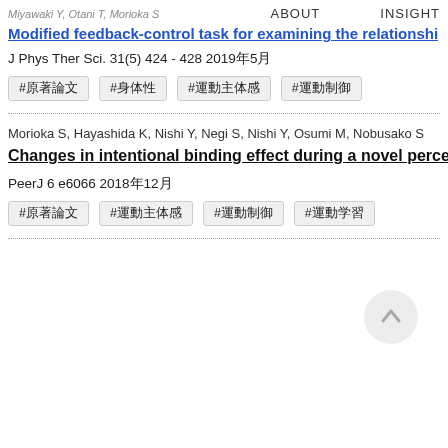Miyawaki Y, Otani T, Morioka S | ABOUT | INSIGHT
Modified feedback-control task for examining the relationshi
J Phys Ther Sci. 31(5) 424 - 428 2019年5月
#原著論文
#身体性
#運動主体感
#運動制御
Morioka S, Hayashida K, Nishi Y, Negi S, Nishi Y, Osumi M, Nobusako S
Changes in intentional binding effect during a novel percept
PeerJ 6 e6066 2018年12月
#原著論文
#運動主体感
#運動制御
#運動学習